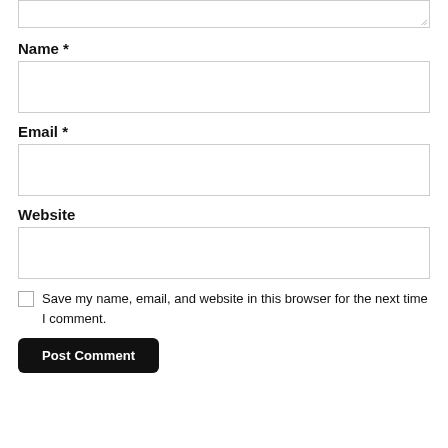[textarea box at top, partially visible]
Name *
[Name input field]
Email *
[Email input field]
Website
[Website input field]
Save my name, email, and website in this browser for the next time I comment.
Post Comment